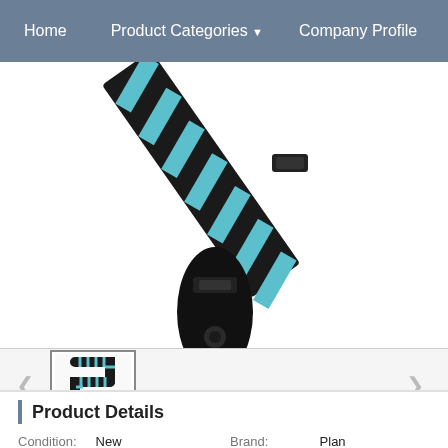Home | Product Categories | Company Profile
[Figure (photo): Guitar strap with black leather end piece and teal/black diagonal stripe pattern, shown close-up. Thumbnail below showing the full strap folded in an S-shape.]
Product Details
| Condition: | New | Brand: | Pla... |
| MPN: | 50sjP01 | UPC: | 019... |